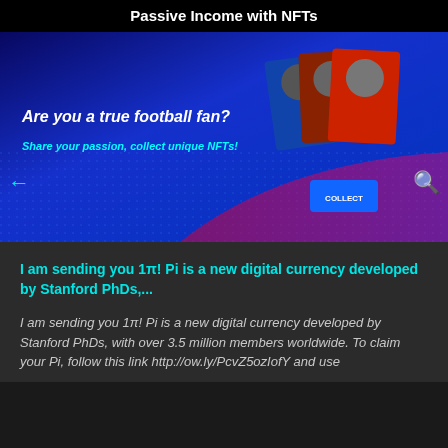Passive Income with NFTs
[Figure (illustration): Banner image for NFT football collection. Blue gradient background with dot grid pattern. Text reads 'Are you a true football fan? Share your passion, collect unique NFTs!' with a 'COLLECT' button and player card images on the right side.]
I am sending you 1π! Pi is a new digital currency developed by Stanford PhDs,...
I am sending you 1π! Pi is a new digital currency developed by Stanford PhDs, with over 3.5 million members worldwide. To claim your Pi, follow this link http://ow.ly/PcvZ5ozIofY and use